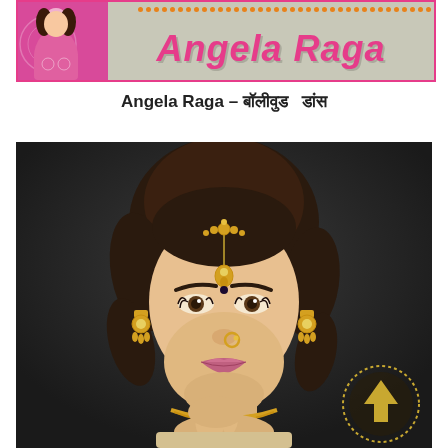[Figure (illustration): Banner header with photo of Angela Raga in pink outfit on left, orange dotted border decoration at top, and stylized pink italic text 'Angela Raga' on grey background with pink border]
Angela Raga – बॉलीवुड   डांस
[Figure (photo): Portrait photo of a young woman with curly hair styled up, wearing traditional Indian jewelry including a maang tikka (head ornament), nose ring, jhumka earrings, and necklace. She is smiling and posing with her chin resting on her hand. Dark grey background. A decorative dotted circle scroll-to-top arrow button appears in the bottom right corner.]